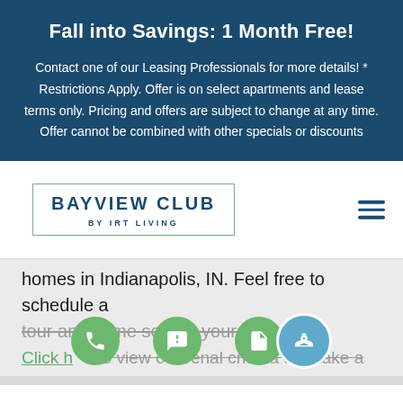Fall into Savings: 1 Month Free!
Contact one of our Leasing Professionals for more details! * Restrictions Apply. Offer is on select apartments and lease terms only. Pricing and offers are subject to change at any time. Offer cannot be combined with other specials or discounts
[Figure (logo): Bayview Club by IRT Living logo with teal border box]
homes in Indianapolis, IN. Feel free to schedule a tour and come see for yourself today!
Click here to view our rental criteria and take a look at our availability below.